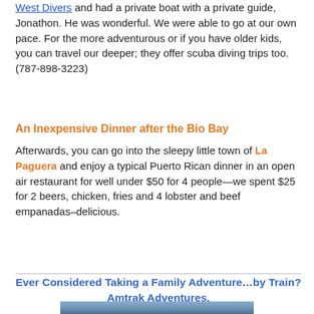West Divers and had a private boat with a private guide, Jonathon. He was wonderful. We were able to go at our own pace. For the more adventurous or if you have older kids, you can travel our deeper; they offer scuba diving trips too. (787-898-3223)
An Inexpensive Dinner after the Bio Bay
Afterwards, you can go into the sleepy little town of La Paguera and enjoy a typical Puerto Rican dinner in an open air restaurant for well under $50 for 4 people—we spent $25 for 2 beers, chicken, fries and 4 lobster and beef empanadas–delicious.
Ever Considered Taking a Family Adventure…by Train? Amtrak Adventures.
[Figure (photo): Partial view of a mountain landscape photo at the bottom of the page]